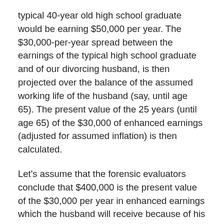typical 40-year old high school graduate would be earning $50,000 per year. The $30,000-per-year spread between the earnings of the typical high school graduate and of our divorcing husband, is then projected over the balance of the assumed working life of the husband (say, until age 65). The present value of the 25 years (until age 65) of the $30,000 of enhanced earnings (adjusted for assumed inflation) is then calculated.
Let's assume that the forensic evaluators conclude that $400,000 is the present value of the $30,000 per year in enhanced earnings which the husband will receive because of his B.A. over the remaining 25 years of his assumed working life. New York is unique in holding that the enhanced earnings is a $400,000 “asset;” marital property to be divided upon divorce.